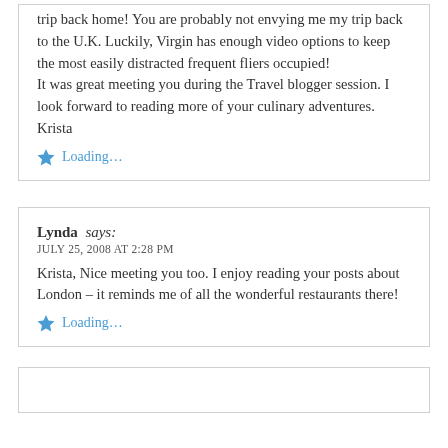trip back home! You are probably not envying me my trip back to the U.K. Luckily, Virgin has enough video options to keep the most easily distracted frequent fliers occupied! It was great meeting you during the Travel blogger session. I look forward to reading more of your culinary adventures. Krista
Loading...
Lynda says:
JULY 25, 2008 AT 2:28 PM
Krista, Nice meeting you too. I enjoy reading your posts about London – it reminds me of all the wonderful restaurants there!
Loading...